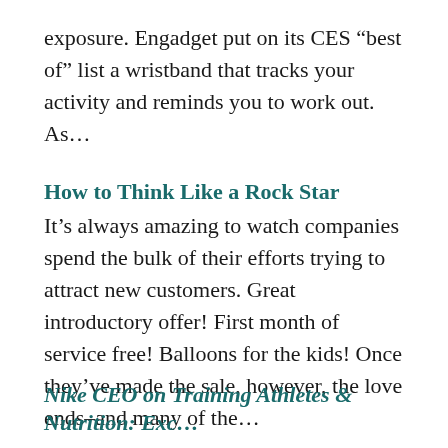exposure. Engadget put on its CES “best of” list a wristband that tracks your activity and reminds you to work out. As…
How to Think Like a Rock Star
It’s always amazing to watch companies spend the bulk of their efforts trying to attract new customers. Great introductory offer! First month of service free! Balloons for the kids! Once they’ve made the sale, however, the love ends–and many of the…
Nike CEO on Training Athletes & Nutrition: Exc…